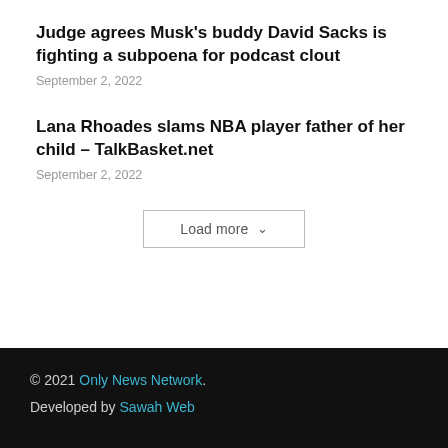Judge agrees Musk's buddy David Sacks is fighting a subpoena for podcast clout
September 2, 2022
Lana Rhoades slams NBA player father of her child – TalkBasket.net
September 2, 2022
Load more
© 2021 Only News Network. Developed by Sawah Web